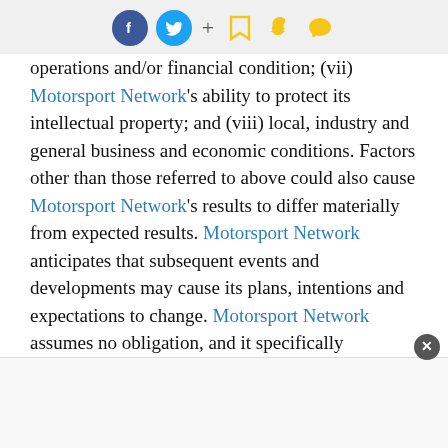[Figure (other): Social media sharing icons bar: Facebook, Twitter, plus sign, bookmark, Snapchat, chat bubble icons]
operations and/or financial condition; (vii) Motorsport Network's ability to protect its intellectual property; and (viii) local, industry and general business and economic conditions. Factors other than those referred to above could also cause Motorsport Network's results to differ materially from expected results. Motorsport Network anticipates that subsequent events and developments may cause its plans, intentions and expectations to change. Motorsport Network assumes no obligation, and it specifically disclaims any intention or obligation, to update any forward-